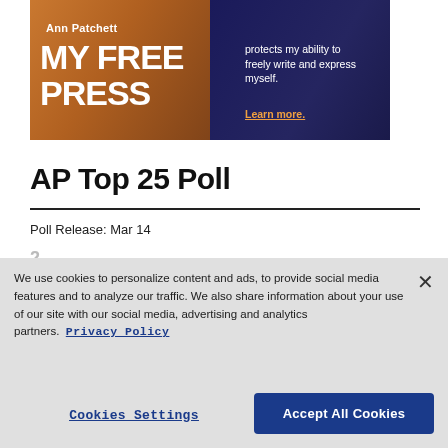[Figure (photo): Advertisement banner featuring Ann Patchett promoting 'My Free Press' — dark navy and amber/orange toned image of a woman with text 'MY FREE PRESS protects my ability to freely write and express myself. Learn more.']
AP Top 25 Poll
Poll Release: Mar 14
We use cookies to personalize content and ads, to provide social media features and to analyze our traffic. We also share information about your use of our site with our social media, advertising and analytics partners. Privacy Policy
Cookies Settings
Accept All Cookies